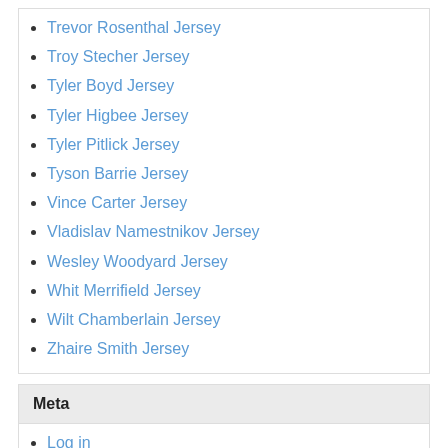Trevor Rosenthal Jersey
Troy Stecher Jersey
Tyler Boyd Jersey
Tyler Higbee Jersey
Tyler Pitlick Jersey
Tyson Barrie Jersey
Vince Carter Jersey
Vladislav Namestnikov Jersey
Wesley Woodyard Jersey
Whit Merrifield Jersey
Wilt Chamberlain Jersey
Zhaire Smith Jersey
Meta
Log in
Entries RSS
Comments RSS